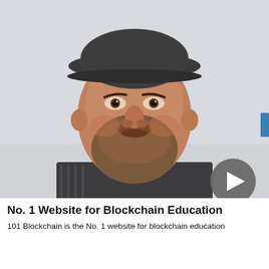[Figure (photo): A bearded man wearing a dark flat cap and grey sweater, photographed from shoulders up against a light grey background. A video play button is overlaid in the lower right corner.]
No. 1 Website for Blockchain Education
101 Blockchain is the No. 1 website for blockchain education